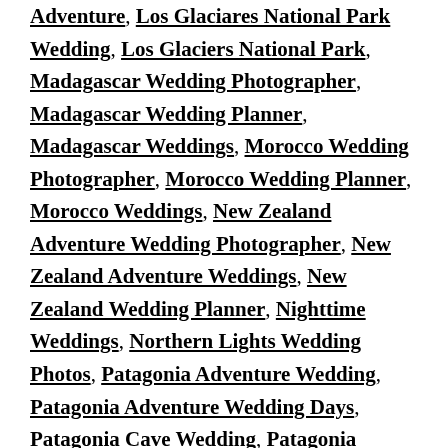Adventure, Los Glaciares National Park Wedding, Los Glaciers National Park, Madagascar Wedding Photographer, Madagascar Wedding Planner, Madagascar Weddings, Morocco Wedding Photographer, Morocco Wedding Planner, Morocco Weddings, New Zealand Adventure Wedding Photographer, New Zealand Adventure Weddings, New Zealand Wedding Planner, Nighttime Weddings, Northern Lights Wedding Photos, Patagonia Adventure Wedding, Patagonia Adventure Wedding Days, Patagonia Cave Wedding, Patagonia Elopement, Patagonia Honeymoon, Patagonia W Wedding, Patagonia Wedding Locations, Patagonia Wedding Photographer, Patagonia Wedding Planner, Patagonia Wedding Planner Ann Peters, Patagonia Weddings, Sunrise Weddings, Sunset Weddings, Torres del Paine Weddings, Unique Destination Wedding Locations, Unique Waterfall Weddings, ushuaia argentina wedding, ushuaia argentina wedding photographer, ushuaia argentina